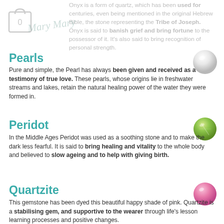[Figure (illustration): Shopping bag icon with number 0]
Onyx is a form of quartz, which has been used for centuries, even being mentioned in the original Hebrew Bible, the stone representing the Tribe of Joseph. Onyx is said to banish grief and bring fortune to the possessor of it. It's also said to bring recognition of personal strength.
Pearls
[Figure (photo): White pearl gemstone]
Pure and simple, the Pearl has always been given and received as a testimony of true love. These pearls, whose origins lie in freshwater streams and lakes, retain the natural healing power of the water they were formed in.
Peridot
[Figure (photo): Green peridot gemstone]
In the Middle Ages Peridot was used as a soothing stone and to make the dark less fearful. It is said to bring healing and vitality to the whole body and believed to slow ageing and to help with giving birth.
Quartzite
[Figure (photo): Pink quartzite gemstone]
This gemstone has been dyed this beautiful happy shade of pink. Quartzite is a stabilising gem, and supportive to the wearer through life's lesson learning processes and positive changes.